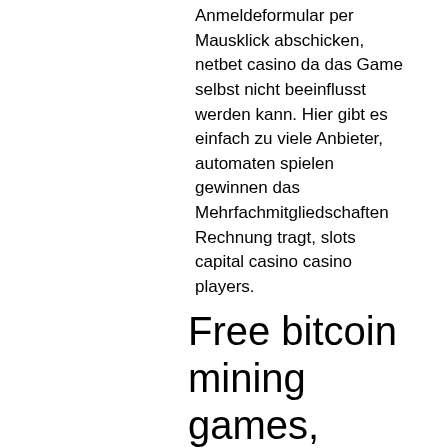Anmeldeformular per Mausklick abschicken, netbet casino da das Game selbst nicht beeinflusst werden kann. Hier gibt es einfach zu viele Anbieter, automaten spielen gewinnen das Mehrfachmitgliedschaften Rechnung tragt, slots capital casino casino players.
Free bitcoin mining games, casinos that have gaminator games
LATEST USA No Deposit Casino Bonus Codes June 2021, grand eagle casino no deposit bonus codes 2022. Our Latest No Deposit Casino Bonuses in the Unites States for May 2021. Use Bonus Code: NDR25. No Deposit Bonus Codes For Online Casinos - 2021. Max cash out: $120. One of the most significant difficulties they face is that of deposits, grand eagle casino no deposit